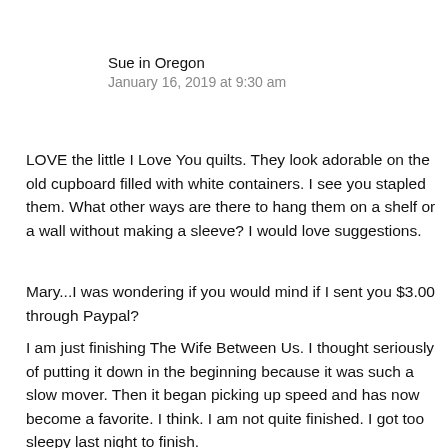Sue in Oregon
January 16, 2019 at 9:30 am
LOVE the little I Love You quilts. They look adorable on the old cupboard filled with white containers. I see you stapled them. What other ways are there to hang them on a shelf or a wall without making a sleeve? I would love suggestions.
Mary...I was wondering if you would mind if I sent you $3.00 through Paypal?
I am just finishing The Wife Between Us. I thought seriously of putting it down in the beginning because it was such a slow mover. Then it began picking up speed and has now become a favorite. I think. I am not quite finished. I got too sleepy last night to finish.